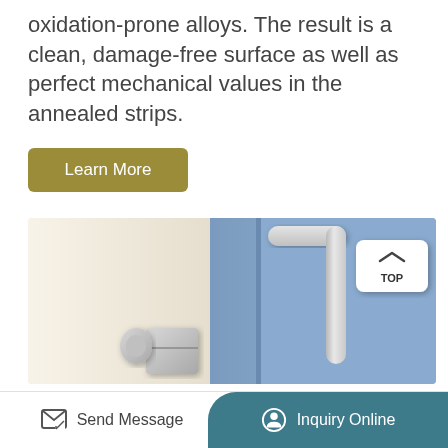oxidation-prone alloys. The result is a clean, damage-free surface as well as perfect mechanical values in the annealed strips.
Learn More
[Figure (photo): Photo of a blue door with a silver bar handle and latch mechanism. The door is shown at a corner with a cream/beige wall visible on the left side. A 'TOP' navigation button is visible in the top-right corner of the image.]
Send Message
Inquiry Online